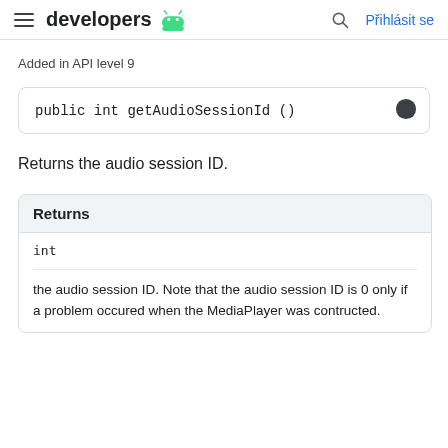developers | Přihlásit se
Added in API level 9
public int getAudioSessionId ()
Returns the audio session ID.
| Returns |
| --- |
| int |
| the audio session ID. Note that the audio session ID is 0 only if a problem occured when the MediaPlayer was contructed. |